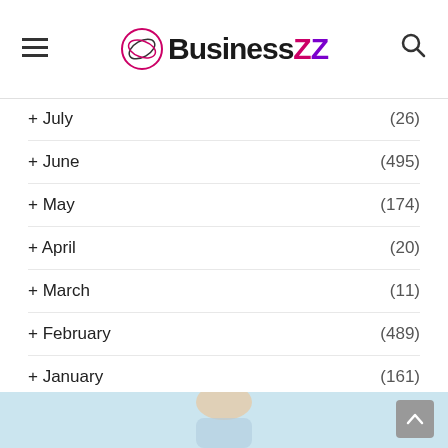BusinessZZ
+ July  (26)
+ June  (495)
+ May  (174)
+ April  (20)
+ March  (11)
+ February  (489)
+ January  (161)
2021
2020
2019
2018
[Figure (photo): Photo of a person, partially visible at bottom of page]